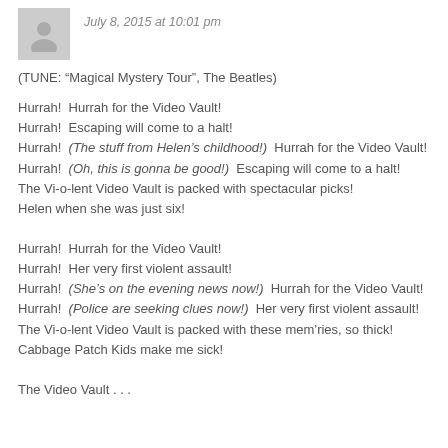July 8, 2015 at 10:01 pm
(TUNE: “Magical Mystery Tour”, The Beatles)
Hurrah!  Hurrah for the Video Vault!
Hurrah!  Escaping will come to a halt!
Hurrah!  (The stuff from Helen’s childhood!)  Hurrah for the Video Vault!
Hurrah!  (Oh, this is gonna be good!)  Escaping will come to a halt!
The Vi-o-lent Video Vault is packed with spectacular picks!
Helen when she was just six!
Hurrah!  Hurrah for the Video Vault!
Hurrah!  Her very first violent assault!
Hurrah!  (She’s on the evening news now!)  Hurrah for the Video Vault!
Hurrah!  (Police are seeking clues now!)  Her very first violent assault!
The Vi-o-lent Video Vault is packed with these mem’ries, so thick!
Cabbage Patch Kids make me sick!
The Video Vault . . .